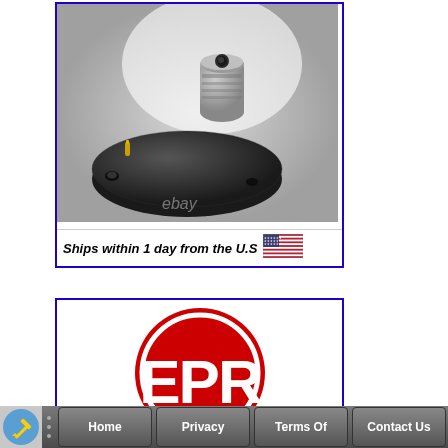[Figure (photo): Antenna mount / connector component - black round base with silver cylindrical threaded connector post, shown on white/grey background. Text overlay at bottom: 'Ships within 1 day from the U.S' with US flag icon. eBay watermark visible.]
[Figure (logo): EPR logo - large red circle with white border ring, bold white text 'EPR' in large letters inside the circle]
Home  Privacy  Terms Of  Contact Us